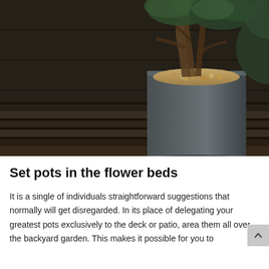[Figure (photo): Dark moody photograph of a rectangular concrete or slate planter box filled with small pebbles and a plant with exposed roots and green foliage, set on wooden decking steps with weathered wood planks in the background.]
Set pots in the flower beds
It is a single of individuals straightforward suggestions that normally will get disregarded. In its place of delegating your greatest pots exclusively to the deck or patio, area them all over the backyard garden. This makes it possible for you to